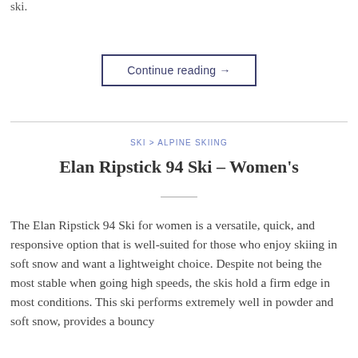ski.
Continue reading →
SKI > ALPINE SKIING
Elan Ripstick 94 Ski – Women's
The Elan Ripstick 94 Ski for women is a versatile, quick, and responsive option that is well-suited for those who enjoy skiing in soft snow and want a lightweight choice. Despite not being the most stable when going high speeds, the skis hold a firm edge in most conditions. This ski performs extremely well in powder and soft snow, provides a bouncy